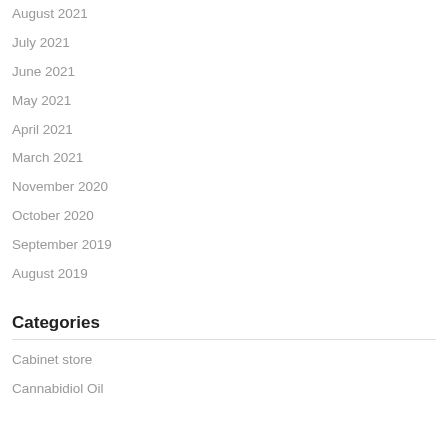August 2021
July 2021
June 2021
May 2021
April 2021
March 2021
November 2020
October 2020
September 2019
August 2019
Categories
Cabinet store
Cannabidiol Oil